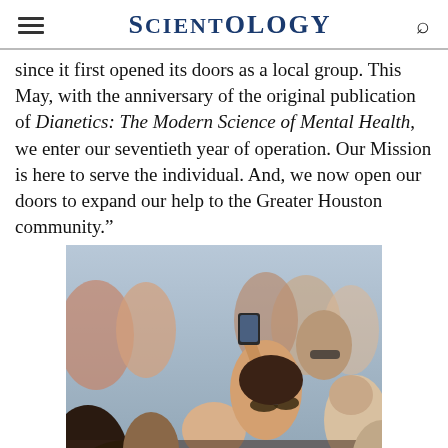SCIENTOLOGY
since it first opened its doors as a local group. This May, with the anniversary of the original publication of Dianetics: The Modern Science of Mental Health, we enter our seventieth year of operation. Our Mission is here to serve the individual. And, we now open our doors to expand our help to the Greater Houston community.”
[Figure (photo): Crowd of people at an outdoor event, with a woman in the center holding up a smartphone to take a photo. Several people in the background wearing sunglasses.]